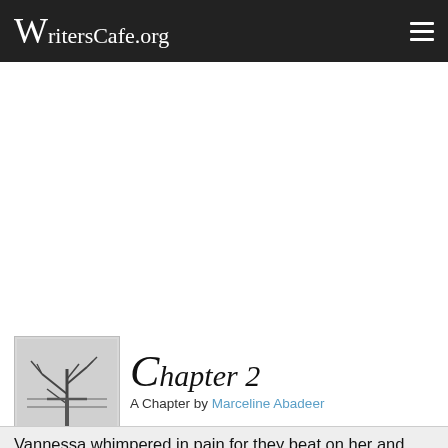WritersCafe.org
Chapter 2
A Chapter by Marceline Abadeer
Vannessa whimpered in pain for they beat on her and tortured